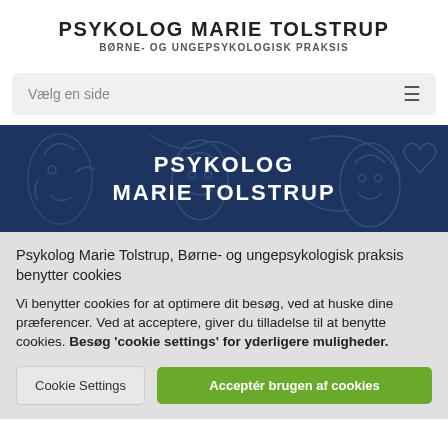PSYKOLOG MARIE TOLSTRUP
BØRNE- OG UNGEPSYKOLOGISK PRAKSIS
[Figure (screenshot): Navigation bar with 'Vælg en side' placeholder text and hamburger menu icon]
[Figure (illustration): Dark navy blue banner with abstract line-art face illustrations and bold white text 'PSYKOLOG MARIE TOLSTRUP']
Psykolog Marie Tolstrup, Børne- og ungepsykologisk praksis benytter cookies
Vi benytter cookies for at optimere dit besøg, ved at huske dine præferencer. Ved at acceptere, giver du tilladelse til at benytte cookies. Besøg 'cookie settings' for yderligere muligheder.
Cookie Settings | Acceptér brugen af cookies